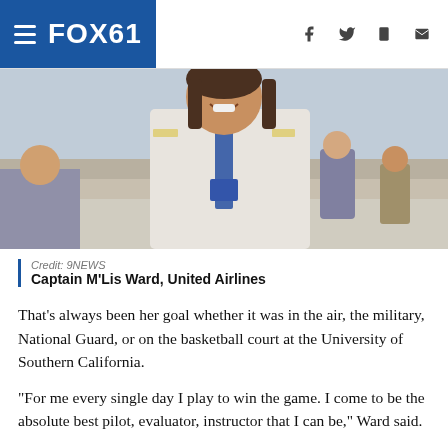FOX61
[Figure (photo): Smiling woman in white pilot uniform with lanyard badge, standing outdoors at what appears to be an airshow or public event. Crowd and buildings visible in background.]
Credit: 9NEWS
Captain M'Lis Ward, United Airlines
That's always been her goal whether it was in the air, the military, National Guard, or on the basketball court at the University of Southern California.
"For me every single day I play to win the game. I come to be the absolute best pilot, evaluator, instructor that I can be," Ward said.
She makes the job look easy, with decades of expertise in a cockpit with nearly a thousand switches. She often helps